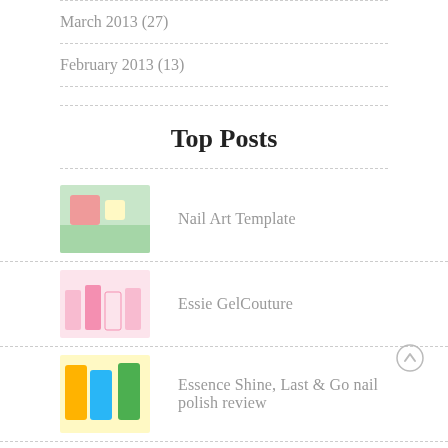March 2013 (27)
February 2013 (13)
Top Posts
Nail Art Template
Essie GelCouture
Essence Shine, Last & Go nail polish review
H&M Candyfloss
CND Vinylux 2 in 1 Nail Polish
OPI Hollywood 2021 Collection